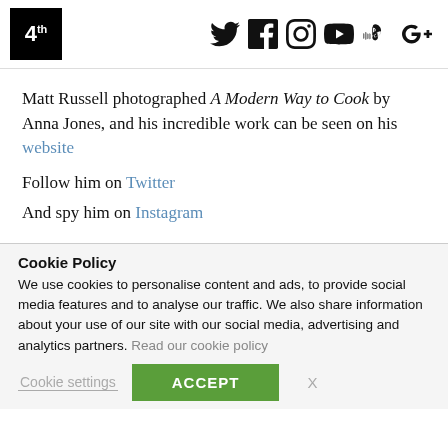4th [logo with social icons: Twitter, Facebook, Instagram, YouTube, SoundCloud, Google+]
Matt Russell photographed A Modern Way to Cook by Anna Jones, and his incredible work can be seen on his website
Follow him on Twitter
And spy him on Instagram
Cookie Policy
We use cookies to personalise content and ads, to provide social media features and to analyse our traffic. We also share information about your use of our site with our social media, advertising and analytics partners. Read our cookie policy
Cookie settings  ACCEPT  X